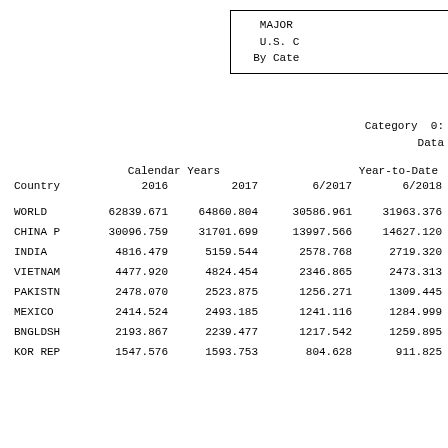MAJOR
U.S. C
By Cate
Category 0:
Data
| Country | Calendar Years 2016 | Calendar Years 2017 | Year-to-Date 6/2017 | Year-to-Date 6/2018 |
| --- | --- | --- | --- | --- |
| WORLD | 62839.671 | 64860.804 | 30586.961 | 31963.376 |
| CHINA P | 30096.759 | 31701.699 | 13997.566 | 14627.120 |
| INDIA | 4816.479 | 5159.544 | 2578.768 | 2719.320 |
| VIETNAM | 4477.920 | 4824.454 | 2346.865 | 2473.313 |
| PAKISTN | 2478.070 | 2523.875 | 1256.271 | 1309.445 |
| MEXICO | 2414.524 | 2493.185 | 1241.116 | 1284.999 |
| BNGLDSH | 2193.867 | 2239.477 | 1217.542 | 1259.895 |
| KOR REP | 1547.576 | 1593.753 | 804.628 | 911.825 |